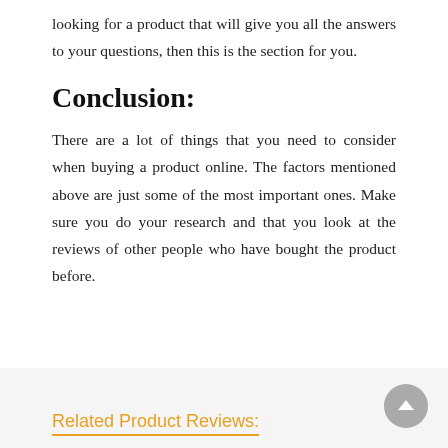looking for a product that will give you all the answers to your questions, then this is the section for you.
Conclusion:
There are a lot of things that you need to consider when buying a product online. The factors mentioned above are just some of the most important ones. Make sure you do your research and that you look at the reviews of other people who have bought the product before.
Related Product Reviews: